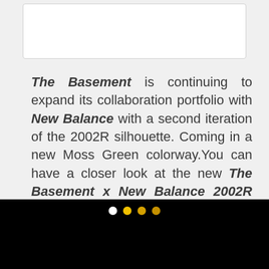[Figure (other): Top partial white card/image area on light gray background]
The Basement is continuing to expand its collaboration portfolio with New Balance with a second iteration of the 2002R silhouette. Coming in a new Moss Green colorway.You can have a closer look at the new The Basement x New Balance 2002R Moss Green above and they will be dropping exclusively via BSMNTSTORE.COM on June 26 at 3 p.m.
[Figure (other): Black image area at bottom with carousel navigation dots (white, yellow, dark yellow, darker yellow)]